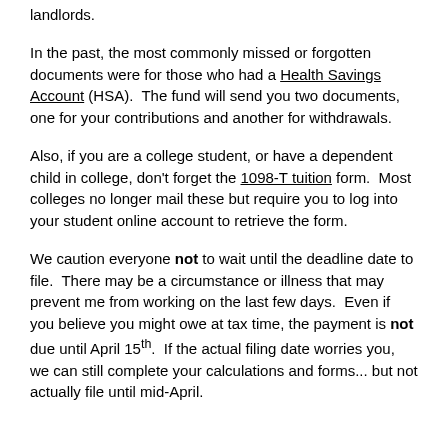landlords.
In the past, the most commonly missed or forgotten documents were for those who had a Health Savings Account (HSA).  The fund will send you two documents, one for your contributions and another for withdrawals.
Also, if you are a college student, or have a dependent child in college, don't forget the 1098-T tuition form.  Most colleges no longer mail these but require you to log into your student online account to retrieve the form.
We caution everyone not to wait until the deadline date to file.  There may be a circumstance or illness that may prevent me from working on the last few days.  Even if you believe you might owe at tax time, the payment is not due until April 15th.  If the actual filing date worries you, we can still complete your calculations and forms... but not actually file until mid-April.